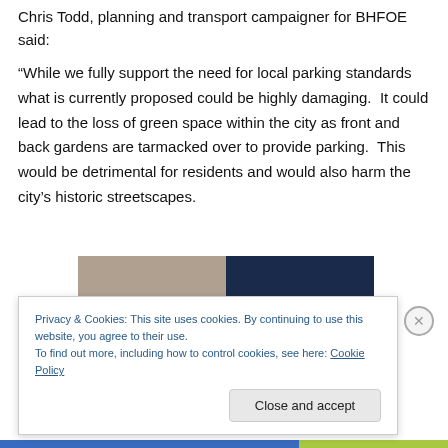Chris Todd, planning and transport campaigner for BHFOE said:
“While we fully support the need for local parking standards what is currently proposed could be highly damaging. It could lead to the loss of green space within the city as front and back gardens are tarmacked over to provide parking. This would be detrimental for residents and would also harm the city’s historic streetscapes.
[Figure (screenshot): Advertisement banner with a photo on the left half and dark navy blue right half with white bold italic text reading BUSINESS.]
Privacy & Cookies: This site uses cookies. By continuing to use this website, you agree to their use.
To find out more, including how to control cookies, see here: Cookie Policy
Close and accept